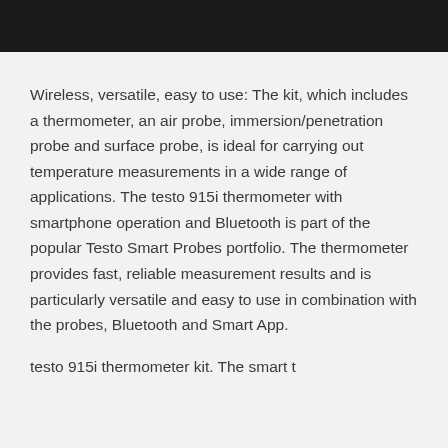[Figure (photo): Black banner/header bar at the top of the page]
Wireless, versatile, easy to use: The kit, which includes a thermometer, an air probe, immersion/penetration probe and surface probe, is ideal for carrying out temperature measurements in a wide range of applications. The testo 915i thermometer with smartphone operation and Bluetooth is part of the popular Testo Smart Probes portfolio. The thermometer provides fast, reliable measurement results and is particularly versatile and easy to use in combination with the probes, Bluetooth and Smart App.
testo 915i thermometer kit. The smart t...